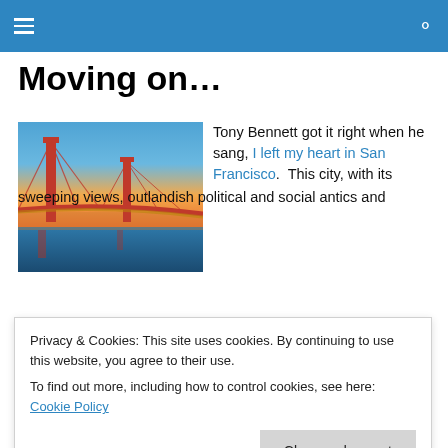Navigation bar with hamburger menu and search icon
Moving on…
[Figure (photo): Photo of the Golden Gate Bridge at sunset with orange-red bridge towers, blue sky gradient, and water below.]
Tony Bennett got it right when he sang, I left my heart in San Francisco. This city, with its sweeping views, outlandish political and social antics and
Privacy & Cookies: This site uses cookies. By continuing to use this website, you agree to their use.
To find out more, including how to control cookies, see here: Cookie Policy

Close and accept
life here. Between semesters of my junior year in college